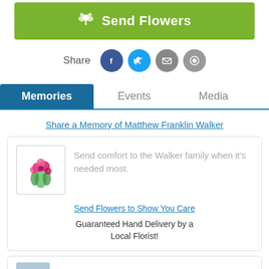[Figure (other): Green 'Send Flowers' button with flower icon]
Share
[Figure (other): Social share icons: Facebook, Twitter, Email, Message]
Memories   Events   Media
Share a Memory of Matthew Franklin Walker
[Figure (illustration): Flower bouquet thumbnail image]
Send comfort to the Walker family when it's needed most.
Send Flowers to Show You Care
Guaranteed Hand Delivery by a Local Florist!
[Figure (other): User avatar placeholder icon]
a year ago